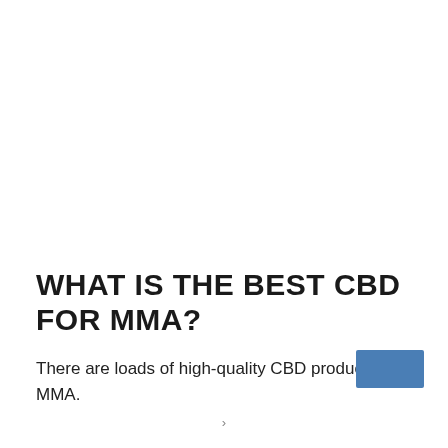WHAT IS THE BEST CBD FOR MMA?
There are loads of high-quality CBD products for MMA.